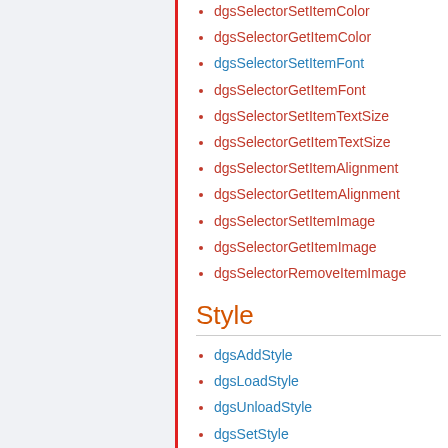dgsSelectorSetItemColor
dgsSelectorGetItemColor
dgsSelectorSetItemFont
dgsSelectorGetItemFont
dgsSelectorSetItemTextSize
dgsSelectorGetItemTextSize
dgsSelectorSetItemAlignment
dgsSelectorGetItemAlignment
dgsSelectorSetItemImage
dgsSelectorGetItemImage
dgsSelectorRemoveItemImage
Style
dgsAddStyle
dgsLoadStyle
dgsUnloadStyle
dgsSetStyle
dgsGetStyle
dgsGetLoadedStyleList